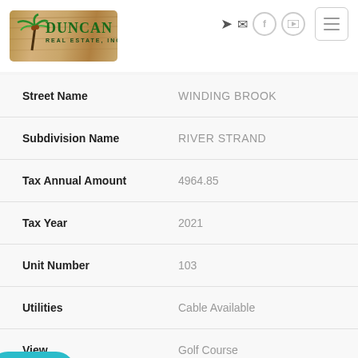[Figure (logo): Duncan Real Estate, Inc. logo with palm tree on wood-textured background]
| Field | Value |
| --- | --- |
| Street Name | WINDING BROOK |
| Subdivision Name | RIVER STRAND |
| Tax Annual Amount | 4964.85 |
| Tax Year | 2021 |
| Unit Number | 103 |
| Utilities | Cable Available |
| View | Golf Course |
| Water Access YN | No |